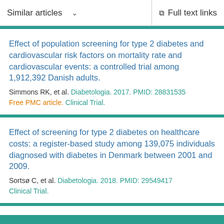Similar articles   Full text links
Effect of population screening for type 2 diabetes and cardiovascular risk factors on mortality rate and cardiovascular events: a controlled trial among 1,912,392 Danish adults.
Simmons RK, et al. Diabetologia. 2017. PMID: 28831535
Free PMC article. Clinical Trial.
Effect of screening for type 2 diabetes on healthcare costs: a register-based study among 139,075 individuals diagnosed with diabetes in Denmark between 2001 and 2009.
Sortsø C, et al. Diabetologia. 2018. PMID: 29549417
Clinical Trial.